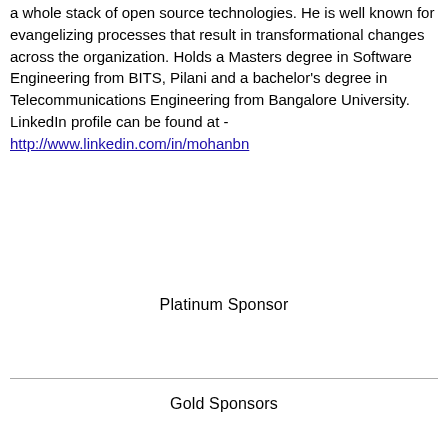a whole stack of open source technologies. He is well known for evangelizing processes that result in transformational changes across the organization. Holds a Masters degree in Software Engineering from BITS, Pilani and a bachelor's degree in Telecommunications Engineering from Bangalore University. LinkedIn profile can be found at - http://www.linkedin.com/in/mohanbn
Platinum Sponsor
Gold Sponsors